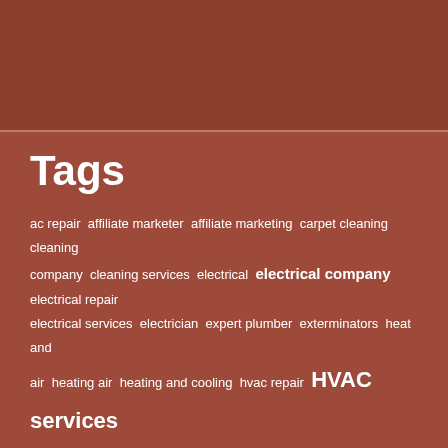Tags
ac repair affiliate marketer affiliate marketing carpet cleaning cleaning company cleaning services electrical electrical company electrical repair electrical services electrician expert plumber exterminators heat and air heating air heating and cooling hvac repair HVAC services industrial cleaning service janitorial services lab created diamond land clearing service mosquito control movers new construction project pest control service pest management plumbers plumbing plumbing contractors plumbing maintenance plumbing services professional cleaning services real estate